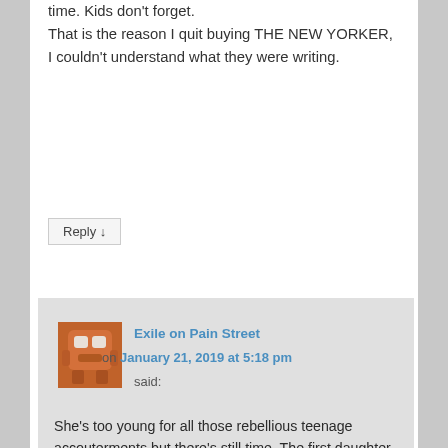time. Kids don't forget. That is the reason I quit buying THE NEW YORKER, I couldn't understand what they were writing.
Reply ↓
Exile on Pain Street
on January 21, 2019 at 5:18 pm said:
She's too young for all those rebellious teenage accouterments but there's still time. The first daughter would've have done it but this one is different. She might date a biker or something.
That kind of art gobbledygook is that alienates folks. It's off-putting and sounds pretentious. The art world would do themselves a big, fat favor if they stopped